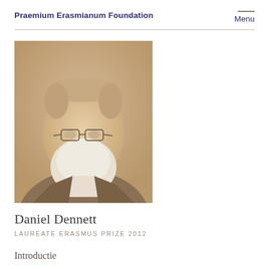Praemium Erasmianum Foundation
[Figure (photo): Sepia-toned portrait photograph of Daniel Dennett, an elderly man with white hair, white beard, and glasses, wearing a dark jacket.]
Daniel Dennett
LAUREATE ERASMUS PRIZE 2012
Introductie
Citation